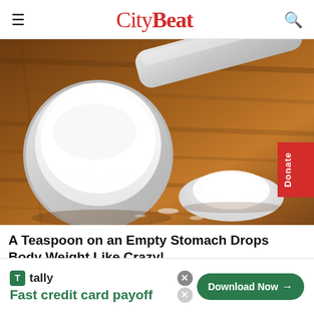CityBeat
[Figure (photo): A plastic measuring scoop filled with white powder (sugar or supplement) resting on a wooden surface, with a small pile of white powder next to it.]
A Teaspoon on an Empty Stomach Drops Body Weight Like Crazy!
[Figure (other): Advertisement banner for Tally app: 'Fast credit card payoff' with a Download Now button]